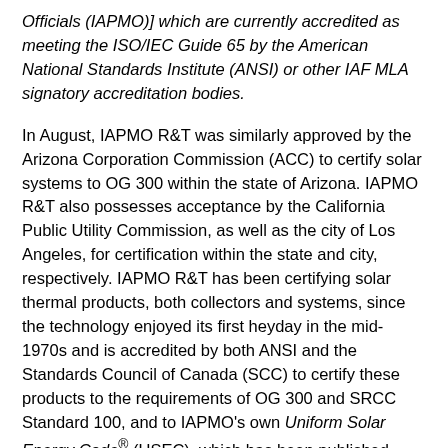Officials (IAPMO)] which are currently accredited as meeting the ISO/IEC Guide 65 by the American National Standards Institute (ANSI) or other IAF MLA signatory accreditation bodies.
In August, IAPMO R&T was similarly approved by the Arizona Corporation Commission (ACC) to certify solar systems to OG 300 within the state of Arizona. IAPMO R&T also possesses acceptance by the California Public Utility Commission, as well as the city of Los Angeles, for certification within the state and city, respectively. IAPMO R&T has been certifying solar thermal products, both collectors and systems, since the technology enjoyed its first heyday in the mid-1970s and is accredited by both ANSI and the Standards Council of Canada (SCC) to certify these products to the requirements of OG 300 and SRCC Standard 100, and to IAPMO's own Uniform Solar Energy Code® (USEC), which has been published since 1976 and is adopted by the states of Colorado and Alaska among others.